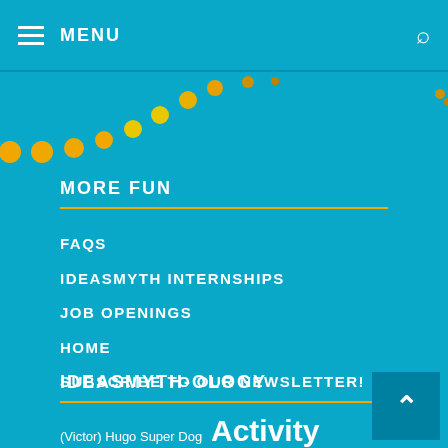≡ MENU 🔍
[Figure (illustration): Decorative dots/circles in orange and yellow arranged in an arc pattern on teal background]
MORE FUN
FAQS
IDEASMYTH INTERNSHIPS
JOB OPENINGS
HOME
SUBSCRIBE TO OUR NEWSLETTER!
IDEASMYTH-OLOGY
(Victor) Hugo Super Dog  Activity Ideas  Bon-Vivant-ism  Book Biz  Book Ideas  Books